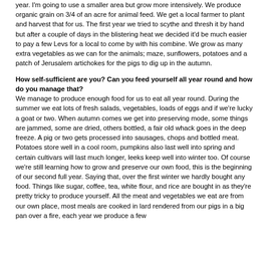year. I'm going to use a smaller area but grow more intensively. We produce organic grain on 3/4 of an acre for animal feed. We get a local farmer to plant and harvest that for us. The first year we tried to scythe and thresh it by hand but after a couple of days in the blistering heat we decided it'd be much easier to pay a few Levs for a local to come by with his combine. We grow as many extra vegetables as we can for the animals; maze, sunflowers, potatoes and a patch of Jerusalem artichokes for the pigs to dig up in the autumn.
How self-sufficient are you? Can you feed yourself all year round and how do you manage that?
We manage to produce enough food for us to eat all year round. During the summer we eat lots of fresh salads, vegetables, loads of eggs and if we're lucky a goat or two. When autumn comes we get into preserving mode, some things are jammed, some are dried, others bottled, a fair old whack goes in the deep freeze. A pig or two gets processed into sausages, chops and bottled meat. Potatoes store well in a cool room, pumpkins also last well into spring and certain cultivars will last much longer, leeks keep well into winter too. Of course we're still learning how to grow and preserve our own food, this is the beginning of our second full year. Saying that, over the first winter we hardly bought any food. Things like sugar, coffee, tea, white flour, and rice are bought in as they're pretty tricky to produce yourself. All the meat and vegetables we eat are from our own place, most meals are cooked in lard rendered from our pigs in a big pan over a fire, each year we produce a few